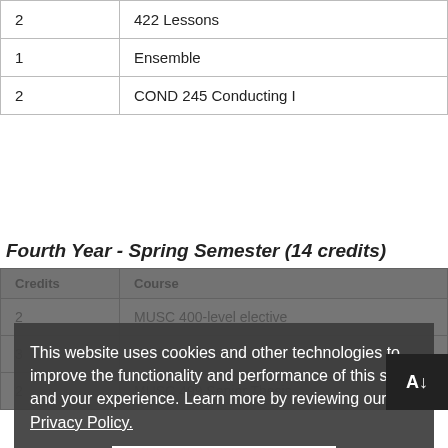| Credits | Course |
| --- | --- |
| 2 | 422 Lessons |
| 1 | Ensemble |
| 2 | COND 245 Conducting I |
Fourth Year – Spring Semester (14 credits)
| Credits | Course |
| --- | --- |
| 2 | MUSC 400-level elective |
| 3 | MUSC 400-level elective |
| 2 | MUSC 499 Senior Thesis |
This website uses cookies and other technologies to improve the functionality and performance of this site and your experience. Learn more by reviewing our Privacy Policy.